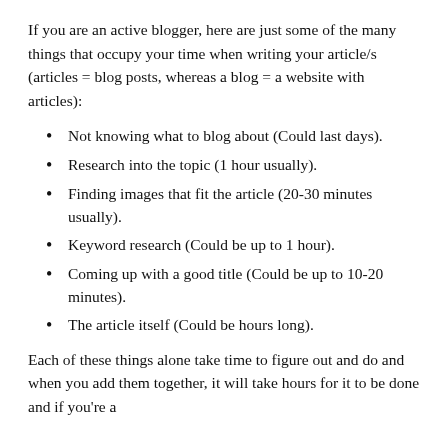If you are an active blogger, here are just some of the many things that occupy your time when writing your article/s (articles = blog posts, whereas a blog = a website with articles):
Not knowing what to blog about (Could last days).
Research into the topic (1 hour usually).
Finding images that fit the article (20-30 minutes usually).
Keyword research (Could be up to 1 hour).
Coming up with a good title (Could be up to 10-20 minutes).
The article itself (Could be hours long).
Each of these things alone take time to figure out and do and when you add them together, it will take hours for it to be done and if you're a